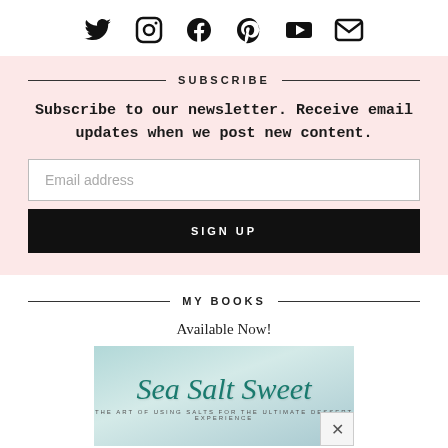[Figure (other): Row of social media icons: Twitter, Instagram, Facebook, Pinterest, YouTube, Email]
SUBSCRIBE
Subscribe to our newsletter. Receive email updates when we post new content.
[Figure (other): Email address input field]
[Figure (other): SIGN UP button]
MY BOOKS
Available Now!
[Figure (other): Book cover for Sea Salt Sweet - The Art of Using Salts for the Ultimate Dessert Experience]